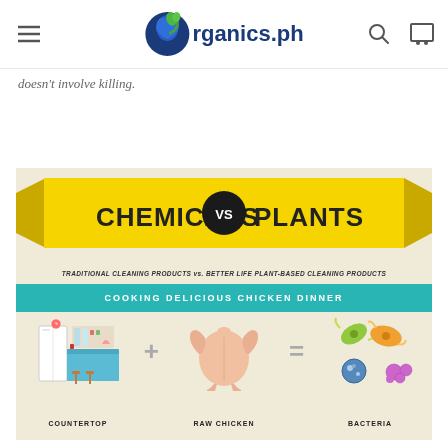organics.ph
doesn't involve killing.
[Figure (infographic): Chemicals vs Plants infographic showing: TRADITIONAL CLEANING PRODUCTS vs. BETTER LIFE PLANT-BASED CLEANING PRODUCTS. Section: COOKING DELICIOUS CHICKEN DINNER. Icons of a countertop + raw chicken = bacteria.]
COUNTERTOP + RAW CHICKEN = BACTERIA